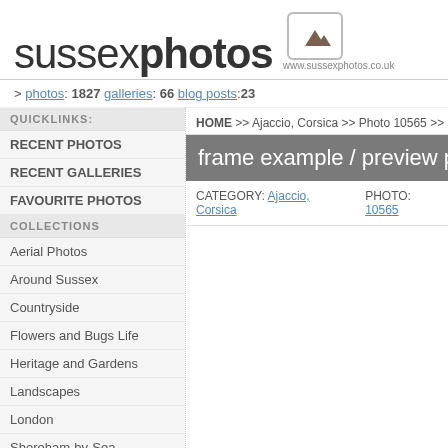[Figure (logo): Sussex Photos logo with mountain icon and URL www.sussexphotos.co.uk]
> photos: 1827 galleries: 66 blog posts:23
QUICKLINKS:
RECENT PHOTOS
RECENT GALLERIES
FAVOURITE PHOTOS
COLLECTIONS
Aerial Photos
Around Sussex
Countryside
Flowers and Bugs Life
Heritage and Gardens
Landscapes
London
Shoreham-by-Sea
The Seasons
Travel International
Travel UK
HOME >> Ajaccio, Corsica >> Photo 10565 >> Fra
frame example / preview photo
CATEGORY: Ajaccio, Corsica   PHOTO: 10565